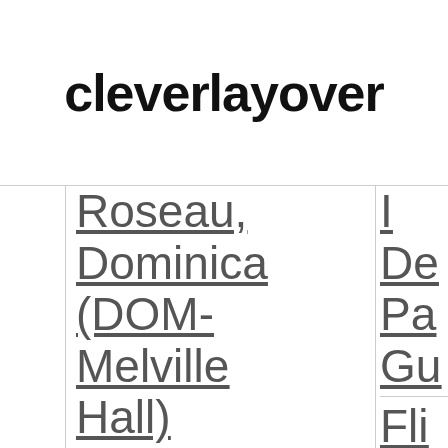cleverlayover
| Roseau, Dominica (DOM-Melville Hall) | ... |
| Flights to Dipolog, | Fli... |